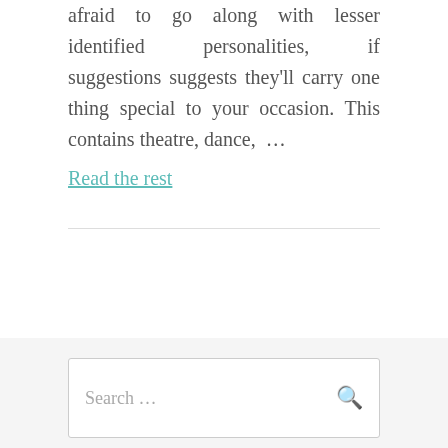afraid to go along with lesser identified personalities, if suggestions suggests they'll carry one thing special to your occasion. This contains theatre, dance, …
Read the rest
OLDER POSTS
Search …